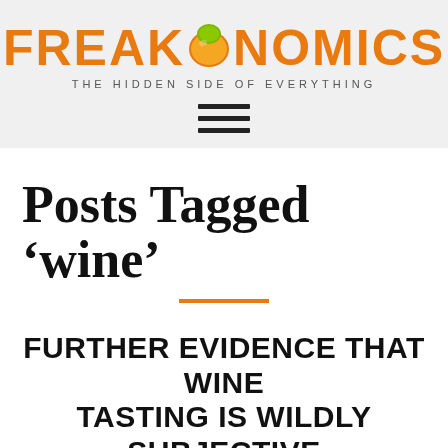FREAKONOMICS THE HIDDEN SIDE OF EVERYTHING
Posts Tagged ‘wine’
FURTHER EVIDENCE THAT WINE TASTING IS WILDLY SUBJECTIVE
JUL 8, 2013